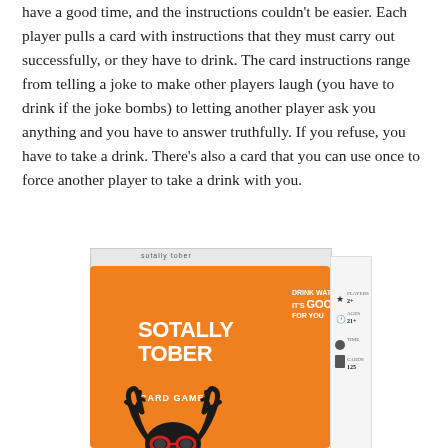have a good time, and the instructions couldn't be easier. Each player pulls a card with instructions that they must carry out successfully, or they have to drink. The card instructions range from telling a joke to make other players laugh (you have to drink if the joke bombs) to letting another player ask you anything and you have to answer truthfully. If you refuse, you have to take a drink. There's also a card that you can use once to force another player to take a drink with you.
[Figure (photo): Photo of the Sotally Tober Card Game box. An orange box with white text reading 'SOTALLY TOBER CARD GAME' with a deer head illustration wearing red glasses. The side panel shows player count (2+), ages (21+), time, and cards (125).]